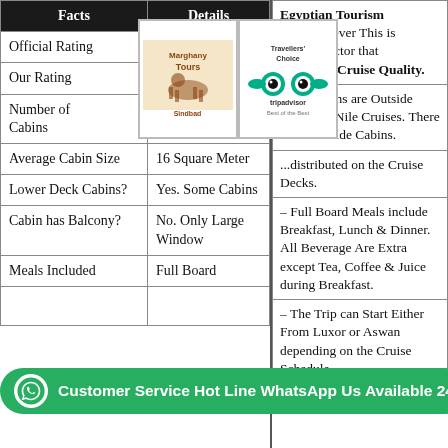| Facts | Details |
| --- | --- |
| Official Rating | 4 Stars |
| Our Rating | Cheap Nile Cruise |
| Number of Cabins | ...distributed on the Cruise Decks. |
| Average Cabin Size | 16 Square Meter |
| Lower Deck Cabins? | Yes. Some Cabins |
| Cabin has Balcony? | No. Only Large Window |
| Meals Included | Full Board |
| – All Cabins are Outside Cabins in Nile Cruises. There are No inside Cabins. |
| ...distributed on the Cruise Decks. |
| – Full Board Meals include Breakfast, Lunch & Dinner. All Beverage Are Extra except Tea, Coffee & Juice during Breakfast. |
| – The Trip can Start Either From Luxor or Aswan depending on the Cruise Schedule. |
| – Average Cabin Size include |
Customer Service Hot Line WhatsApp Us Available 24/7